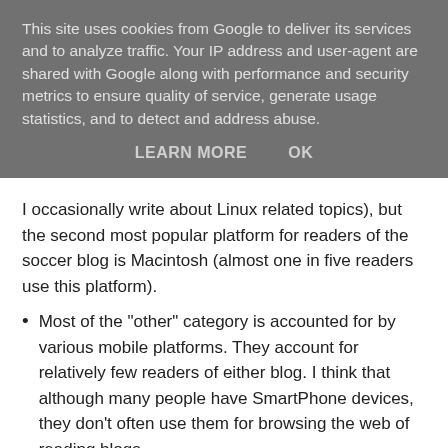This site uses cookies from Google to deliver its services and to analyze traffic. Your IP address and user-agent are shared with Google along with performance and security metrics to ensure quality of service, generate usage statistics, and to detect and address abuse.
LEARN MORE    OK
I occasionally write about Linux related topics), but the second most popular platform for readers of the soccer blog is Macintosh (almost one in five readers use this platform).
Most of the "other" category is accounted for by various mobile platforms. They account for relatively few readers of either blog. I think that although many people have SmartPhone devices, they don't often use them for browsing the web of reading blogs.